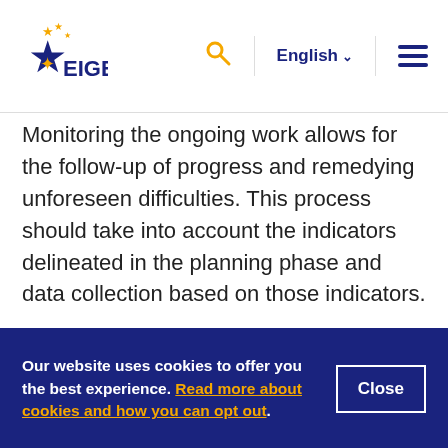EIGE | English
Monitoring the ongoing work allows for the follow-up of progress and remedying unforeseen difficulties. This process should take into account the indicators delineated in the planning phase and data collection based on those indicators.
At the end of a policy cycle or programme, a gender-sensitive evaluation should take place. Make your evaluation is publicly accessible and strategically disseminate its results to promote its
Our website uses cookies to offer you the best experience. Read more about cookies and how you can opt out.